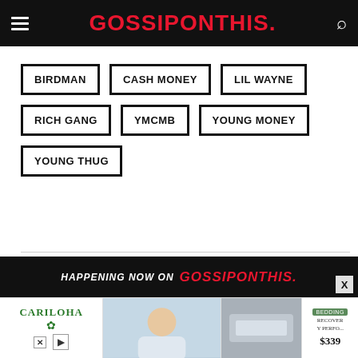GOSSIPONTHIS.
BIRDMAN
CASH MONEY
LIL WAYNE
RICH GANG
YMCMB
YOUNG MONEY
YOUNG THUG
[Figure (screenshot): Bottom banner with text HAPPENING NOW ON GOSSIPONTHIS. in black bar with red side accents and close X button]
[Figure (screenshot): Advertisement strip at bottom showing Cariloha brand and bedding product with price $339]